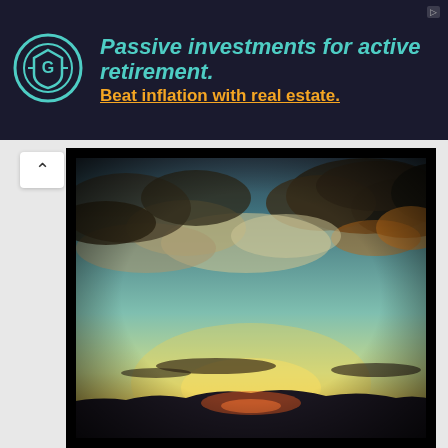[Figure (infographic): Advertisement banner with dark background. Logo on left: circular emblem with stylized G/shield icon in teal. Text reads: 'Passive investments for active retirement. Beat inflation with real estate.' Main text in teal/cyan bold italic, subtitle in orange with underline. Small 'D>' indicator top right.]
[Figure (photo): Instagram-style filtered photograph of a dramatic sunset sky. Warm vintage tones with teal-blue sky, golden-yellow clouds in upper portion, silhouetted mountain/hill horizon at bottom, bright golden glow near horizon. Heavy vignette black border around edges.]